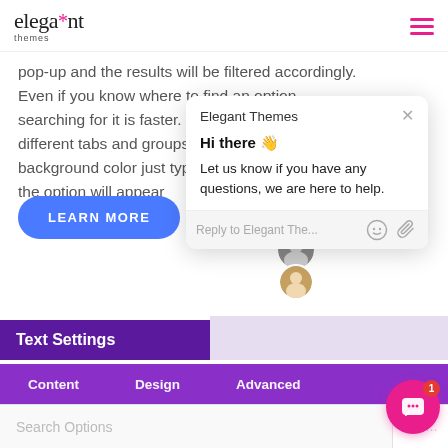elegant* themes
pop-up and the results will be filtered accordingly. Even if you know where to find an option, searching for it is faster. No need to click into different tabs and groups. If you want to edit your background color just type "background color" and the option will appear
[Figure (screenshot): Chat popup from Elegant Themes with header 'Elegant Themes', greeting 'Hi there 👋', message 'Let us know if you have any questions, we are here to help.', and reply input area 'Reply to Elegant The...' with emoji and attachment icons]
LEARN MORE
Text Settings
Content   Design   Advanced
Search Options   + Fi...